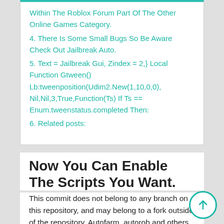Within The Roblox Forum Part Of The Other Online Games Category.
4. There Is Some Small Bugs So Be Aware Check Out Jailbreak Auto.
5. Text = Jailbreak Gui, Zindex = 2,} Local Function Gtween() Lb:tweenposition(Udim2.New(1,10,0,0), Nil,Nil,3,True,Function(Ts) If Ts == Enum.tweenstatus.completed Then:
6. Related posts:
Now You Can Enable The Scripts You Want.
This commit does not belong to any branch on this repository, and may belong to a fork outside of the repository. Autofarm, autorob and others features with this script, works 2021. With the autofarm feature and the teleport feature, you will